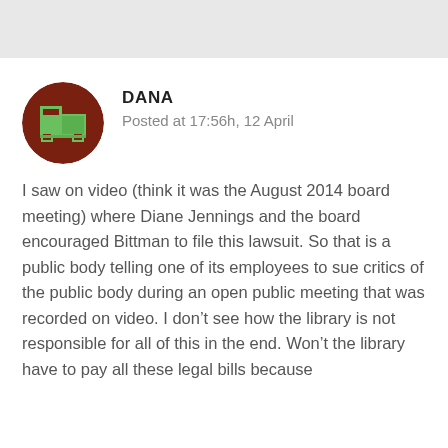[Figure (illustration): Circular avatar with dark red/brown background and a pixel-art style green truck/tractor icon in the center]
DANA
Posted at 17:56h, 12 April
I saw on video (think it was the August 2014 board meeting) where Diane Jennings and the board encouraged Bittman to file this lawsuit. So that is a public body telling one of its employees to sue critics of the public body during an open public meeting that was recorded on video. I don't see how the library is not responsible for all of this in the end. Won't the library have to pay all these legal bills because